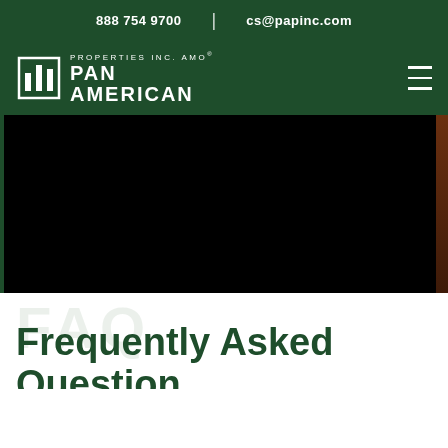888 754 9700   |   cs@papinc.com
[Figure (logo): Pan American Properties Inc. AMO logo with building icon and text, white on dark green background, with hamburger menu icon]
[Figure (photo): Dark/black hero image area with dark green background and brown accent on right side]
Frequently Asked Questions